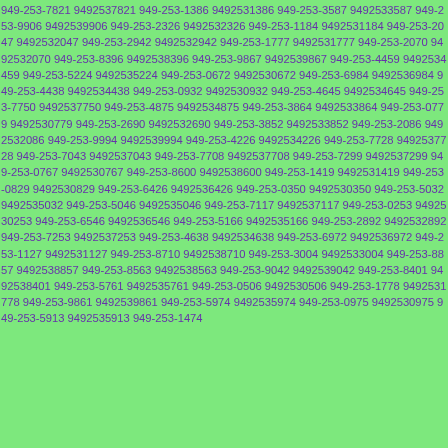949-253-7821 9492537821 949-253-1386 9492531386 949-253-3587 9492533587 949-253-9906 9492539906 949-253-2326 9492532326 949-253-1184 9492531184 949-253-2047 9492532047 949-253-2942 9492532942 949-253-1777 9492531777 949-253-2070 9492532070 949-253-8396 9492538396 949-253-9867 9492539867 949-253-4459 9492534459 949-253-5224 9492535224 949-253-0672 9492530672 949-253-6984 9492536984 949-253-4438 9492534438 949-253-0932 9492530932 949-253-4645 9492534645 949-253-7750 9492537750 949-253-4875 9492534875 949-253-3864 9492533864 949-253-0779 9492530779 949-253-2690 9492532690 949-253-3852 9492533852 949-253-2086 9492532086 949-253-9994 9492539994 949-253-4226 9492534226 949-253-7728 9492537728 949-253-7043 9492537043 949-253-7708 9492537708 949-253-7299 9492537299 949-253-0767 9492530767 949-253-8600 9492538600 949-253-1419 9492531419 949-253-0829 9492530829 949-253-6426 9492536426 949-253-0350 9492530350 949-253-5032 9492535032 949-253-5046 9492535046 949-253-7117 9492537117 949-253-0253 9492530253 949-253-6546 9492536546 949-253-5166 9492535166 949-253-2892 9492532892 949-253-7253 9492537253 949-253-4638 9492534638 949-253-6972 9492536972 949-253-1127 9492531127 949-253-8710 9492538710 949-253-3004 9492533004 949-253-8857 9492538857 949-253-8563 9492538563 949-253-9042 9492539042 949-253-8401 9492538401 949-253-5761 9492535761 949-253-0506 9492530506 949-253-1778 9492531778 949-253-9861 9492539861 949-253-5974 9492535974 949-253-0975 9492530975 949-253-5913 9492535913 949-253-1474